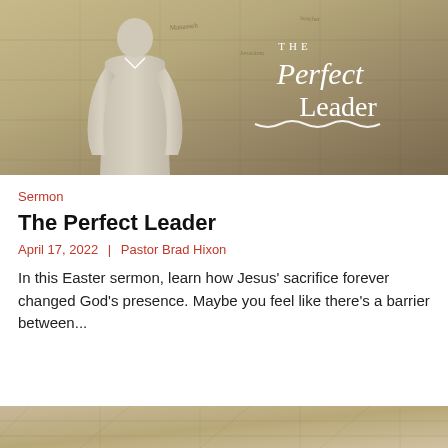[Figure (photo): Hero banner image showing a man in a light grey button-up shirt standing in front of a historical map background. Overlaid text reads 'THE Perfect Leader' in white serif font.]
Sermon
The Perfect Leader
April 17, 2022  |  Pastor Brad Hixon
In this Easter sermon, learn how Jesus' sacrifice forever changed God's presence. Maybe you feel like there's a barrier between...
[Figure (photo): Partial view of another article card beginning to appear at the bottom of the page, showing a similar map-style background texture.]